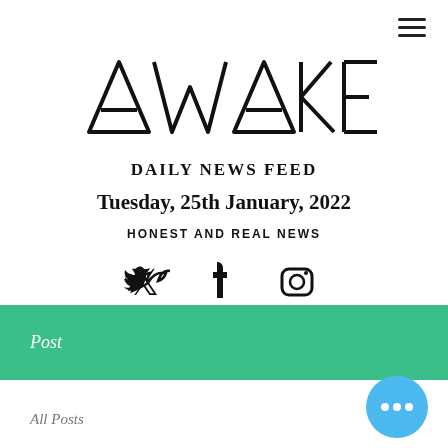[Figure (illustration): Hamburger menu icon (three horizontal lines) in top right corner]
AWAKE
DAILY NEWS FEED
Tuesday, 25th January, 2022
HONEST AND REAL NEWS
[Figure (illustration): Social media icons: Twitter bird, Facebook f, Instagram camera]
Post
All Posts